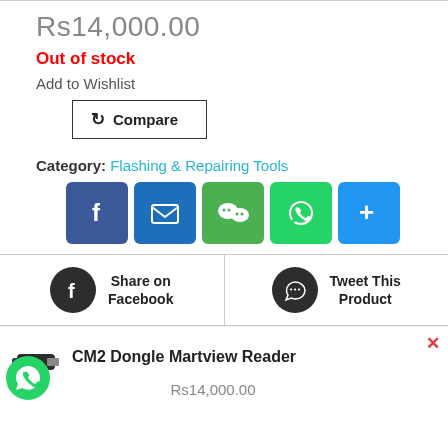Rs14,000.00
Out of stock
Add to Wishlist
Compare
Category: Flashing & Repairing Tools
[Figure (infographic): Social share icons: Facebook (blue), Email (blue), WeChat (green), WhatsApp (green), More (blue plus)]
[Figure (infographic): Share on Facebook button with circular Facebook icon and Tweet This Product button with circular Twitter bird icon]
[Figure (infographic): Popup notification bar showing CM2 Dongle Martview Reader product image, title, Rs14,000.00 price and WhatsApp chat bubble icon. Close X button in red top right.]